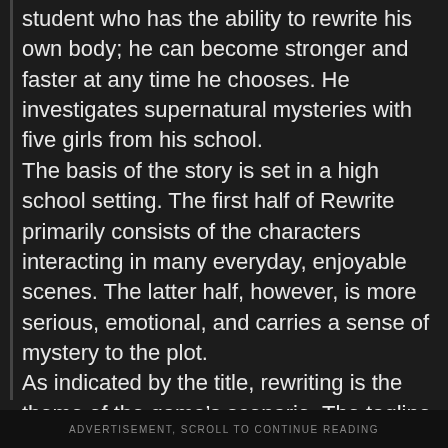student who has the ability to rewrite his own body; he can become stronger and faster at any time he chooses. He investigates supernatural mysteries with five girls from his school.
The basis of the story is set in a high school setting. The first half of Rewrite primarily consists of the characters interacting in many everyday, enjoyable scenes. The latter half, however, is more serious, emotional, and carries a sense of mystery to the plot.
As indicated by the title, rewriting is the theme of the game's scenario. The tagline for the game is, “Could it possibly be rewritten, that fate of her’s?”.
ADVERTISEMENT, SCROLL TO CONTINUE READING